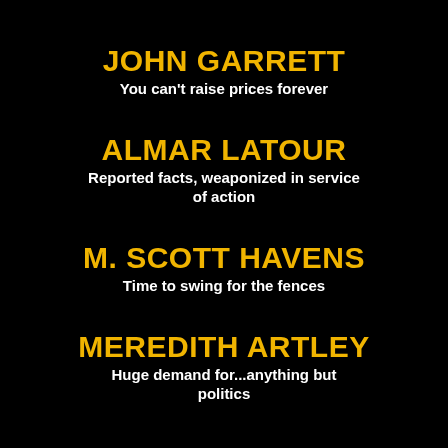JOHN GARRETT
You can't raise prices forever
ALMAR LATOUR
Reported facts, weaponized in service of action
M. SCOTT HAVENS
Time to swing for the fences
MEREDITH ARTLEY
Huge demand for...anything but politics